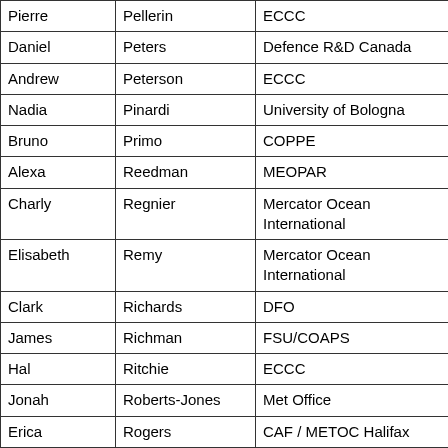| First Name | Last Name | Organization | Country |
| --- | --- | --- | --- |
| Pierre | Pellerin | ECCC | Canada |
| Daniel | Peters | Defence R&D Canada | Canada |
| Andrew | Peterson | ECCC | Canada |
| Nadia | Pinardi | University of Bologna | Italy |
| Bruno | Primo | COPPE | Brazil |
| Alexa | Reedman | MEOPAR | Canada |
| Charly | Regnier | Mercator Ocean International | France |
| Elisabeth | Remy | Mercator Ocean International | France |
| Clark | Richards | DFO | Canada |
| James | Richman | FSU/COAPS | USA |
| Hal | Ritchie | ECCC | Canada |
| Jonah | Roberts-Jones | Met Office | UK |
| Erica | Rogers | CAF / METOC Halifax | Canada |
| Moninya | Roughan | MetService | New Zealand |